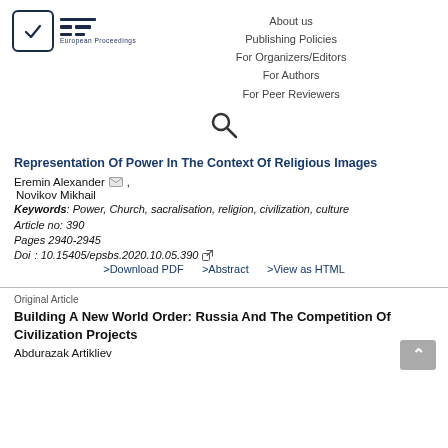[Figure (logo): European Proceedings logo with checkmark in rounded-rectangle box and EP text lines]
About us
Publishing Policies
For Organizers/Editors
For Authors
For Peer Reviewers
[Figure (other): Search icon (magnifying glass)]
Representation Of Power In The Context Of Religious Images
Eremin Alexander, Novikov Mikhail
Keywords: Power, Church, sacralisation, religion, civilization, culture
Article no: 390
Pages 2940-2945
Doi: 10.15405/epsbs.2020.10.05.390
>Download PDF    >Abstract    >View as HTML
Original Article
Building A New World Order: Russia And The Competition Of Civilization Projects
Abdurazak Artikliev